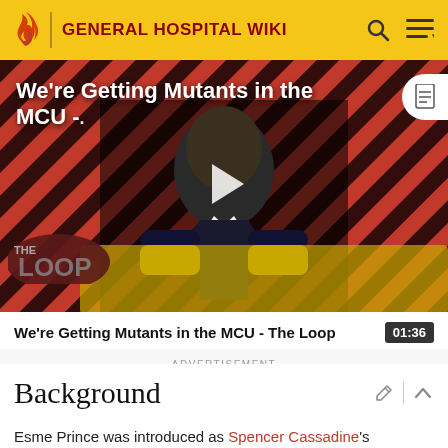GENERAL HOSPITAL WIKI
[Figure (screenshot): Video thumbnail showing a bald man in a suit seated in a yellow chair against a red and black diagonal striped background. The Loop watermark is in the lower left. Title overlay reads: We're Getting Mutants in the MCU -. A play button is in the center.]
We're Getting Mutants in the MCU - The Loop   01:36
ADVERTISEMENT
Background
Esme Prince was introduced as Spencer Cassadine's